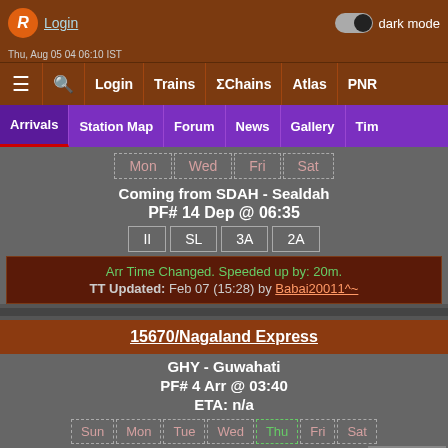Login | dark mode toggle
≡ 🔍 Login | Trains | ΣChains | Atlas | PNR
Arrivals | Station Map | Forum | News | Gallery | Tim
Mon  Wed  Fri  Sat
Coming from SDAH - Sealdah
PF# 14 Dep @ 06:35
II  SL  3A  2A
Arr Time Changed. Speeded up by: 20m.
TT Updated: Feb 07 (15:28) by Babai20011^~
15670/Nagaland Express
GHY - Guwahati
PF# 4 Arr @ 03:40
ETA: n/a
Sun  Mon  Tue  Wed  Thu  Fri  Sat
Coming from DBRT - Dibrugarh Town
PF# 1 Dep @ 13:40
Scroll to Bottom